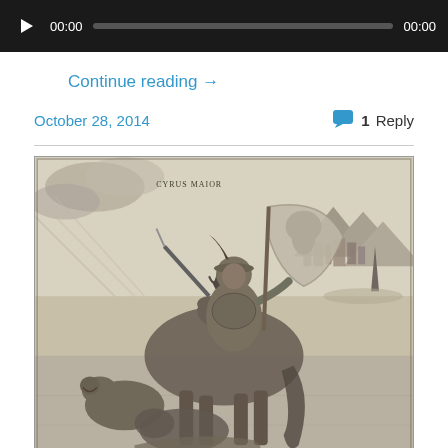[Figure (other): Audio player bar with play button, time labels '00:00' on both sides, and a progress bar on a dark background.]
Continue reading →
October 28, 2014
1 Reply
[Figure (illustration): A black and white engraving depicting a warrior or general on horseback, holding a spear and a large banner with a figure, accompanied by animals (possibly dogs or bears) at the horse's feet. A city and mountains are visible in the background. A label reading 'CYRUS MAIOR' appears at the top center of the engraving.]